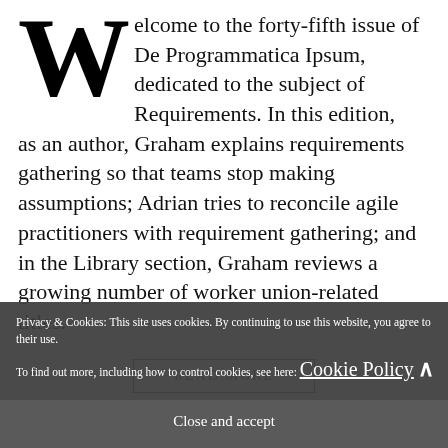Welcome to the forty-fifth issue of De Programmatica Ipsum, dedicated to the subject of Requirements. In this edition, as an author, Graham explains requirements gathering so that teams stop making assumptions; Adrian tries to reconcile agile practitioners with requirement gathering; and in the Library section, Graham reviews a growing number of worker union-related titles.
READ MORE
Privacy & Cookies: This site uses cookies. By continuing to use this website, you agree to their use.
To find out more, including how to control cookies, see here: Cookie Policy
Close and accept